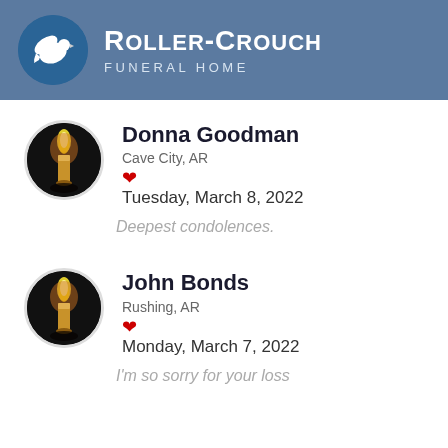Roller-Crouch Funeral Home
Donna Goodman
Cave City, AR
Tuesday, March 8, 2022
Deepest condolences.
John Bonds
Rushing, AR
Monday, March 7, 2022
I'm so sorry for your loss